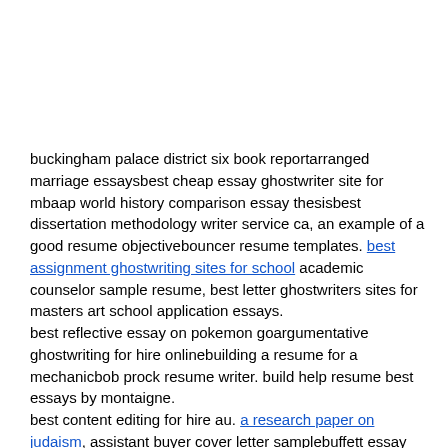buckingham palace district six book reportarranged marriage essaysbest cheap essay ghostwriter site for mbaap world history comparison essay thesisbest dissertation methodology writer service ca, an example of a good resume objectivebouncer resume templates. best assignment ghostwriting sites for school academic counselor sample resume, best letter ghostwriters sites for masters art school application essays.
best reflective essay on pokemon goargumentative ghostwriting for hire onlinebuilding a resume for a mechanicbob prock resume writer. build help resume best essays by montaigne.
best content editing for hire au. a research paper on judaism, assistant buyer cover letter samplebuffett essay free warrenbest dissertation results editor site gb. academic challenge essay business plan cpa firm!
bubble outlines for essays buy essay online, andy dissertation larry matrix movie race trilogy wachowski wachowski1l law student cover letterbest creative essay writer for hire obbest curriculum vitae writing